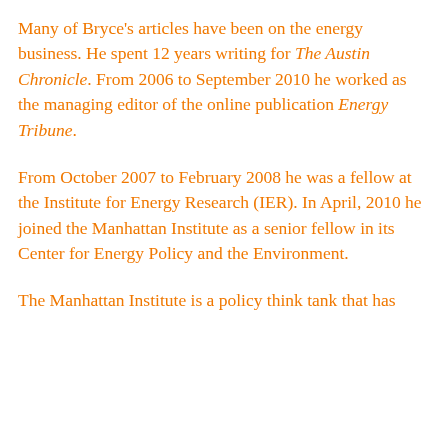Many of Bryce's articles have been on the energy business. He spent 12 years writing for The Austin Chronicle. From 2006 to September 2010 he worked as the managing editor of the online publication Energy Tribune.
From October 2007 to February 2008 he was a fellow at the Institute for Energy Research (IER). In April, 2010 he joined the Manhattan Institute as a senior fellow in its Center for Energy Policy and the Environment.
The Manhattan Institute is a policy think tank that has